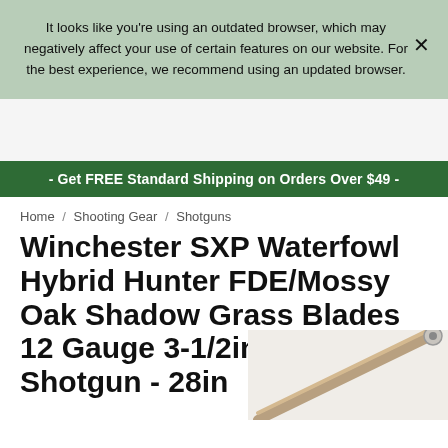It looks like you're using an outdated browser, which may negatively affect your use of certain features on our website. For the best experience, we recommend using an updated browser.
- Get FREE Standard Shipping on Orders Over $49 -
Home / Shooting Gear / Shotguns
Winchester SXP Waterfowl Hybrid Hunter FDE/Mossy Oak Shadow Grass Blades 12 Gauge 3-1/2in Pump Shotgun - 28in
[Figure (photo): Partial view of a shotgun barrel angled diagonally from bottom-right corner of the page]